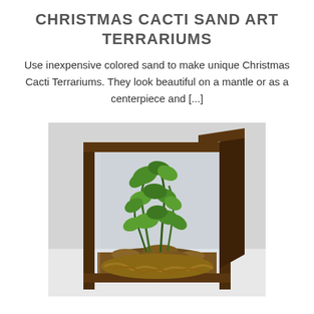CHRISTMAS CACTI SAND ART TERRARIUMS
Use inexpensive colored sand to make unique Christmas Cacti Terrariums. They look beautiful on a mantle or as a centerpiece and [...]
[Figure (photo): A rectangular glass and dark wood frame terrarium containing a green leafy plant growing from brown moss/roots on a light gray background.]